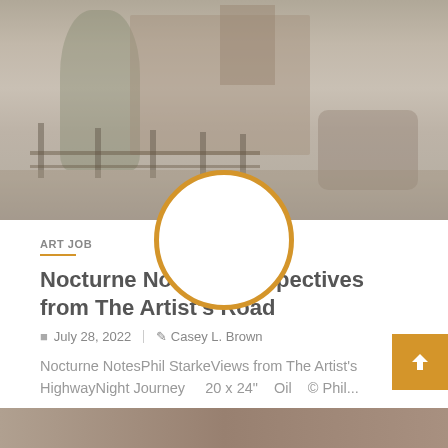[Figure (photo): Painting of a southwestern scene with a mission-style building, trees, fence posts, and riders on horseback. An orange circle overlays the lower portion of the image.]
ART JOB
Nocturne Notes – Perspectives from The Artist's Road
July 28, 2022   Casey L. Brown
Nocturne NotesPhil StarkeViews from The Artist's HighwayNight Journey    20 x 24"    Oil    © Phil...
[Figure (photo): Bottom thumbnail strip showing another painting/photo partially visible.]